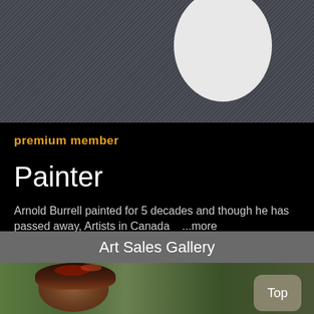[Figure (photo): Top portion showing denim/fabric texture with a white oval shape on the right side against dark background]
premium member
Painter
Arnold Burrell painted for 5 decades and though he has passed away, Artists in Canada   ...more
Arnold Burrell
Title: A-4 Stark Abstract
Art Sales Gallery
[Figure (photo): Painting of a person's face/head with dark hair and reddish tones against green background, with a 'Top' button overlay in bottom right]